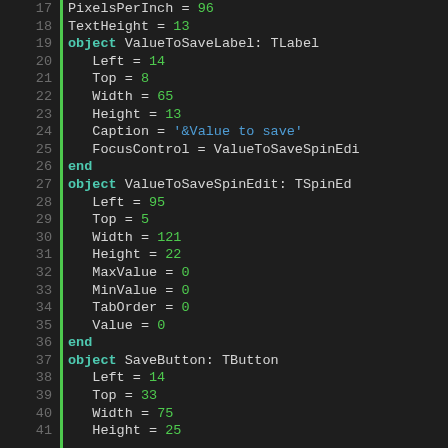[Figure (screenshot): Code editor showing Pascal/Delphi DFM file content, lines 17-41, with syntax highlighting: line numbers in gray on left, a green vertical bar, keywords in teal/bold, numeric values in green, string values in blue.]